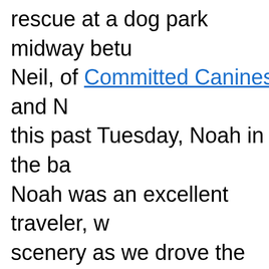rescue at a dog park midway between Neil, of Committed Canines and … this past Tuesday, Noah in the ba… Noah was an excellent traveler, w… scenery as we drove the 90 miles…

At the dog park Noah we allowed… while waiting for the rep to arrive.… had a blast running around, sniffin… enjoying the interaction with Neil … were also lots of treats and a 'picn…